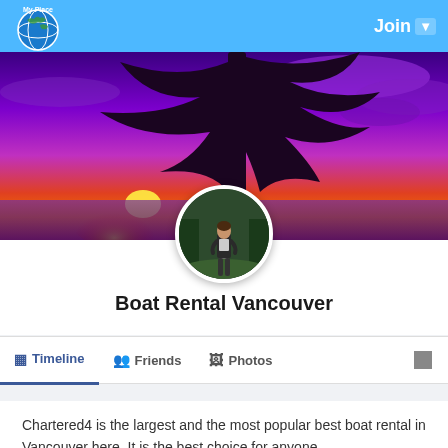My Place — Join
[Figure (photo): Cover photo showing a vivid purple and red sunset sky with a dark silhouetted tree, over a body of water]
[Figure (photo): Circular profile picture of a person standing on a road in a forest or wooded area, wearing a dark jacket]
Boat Rental Vancouver
Timeline   Friends   Photos
Chartered4 is the largest and the most popular best boat rental in Vancouver here. It is the best choice for anyone